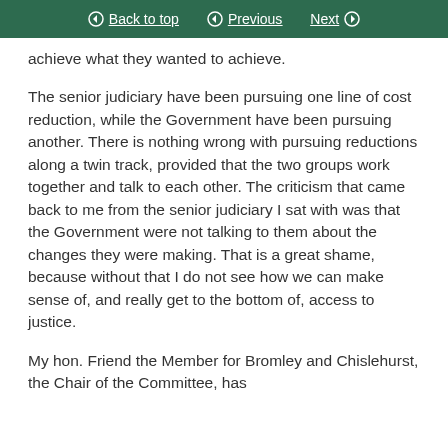Back to top  Previous  Next
achieve what they wanted to achieve.
The senior judiciary have been pursuing one line of cost reduction, while the Government have been pursuing another. There is nothing wrong with pursuing reductions along a twin track, provided that the two groups work together and talk to each other. The criticism that came back to me from the senior judiciary I sat with was that the Government were not talking to them about the changes they were making. That is a great shame, because without that I do not see how we can make sense of, and really get to the bottom of, access to justice.
My hon. Friend the Member for Bromley and Chislehurst, the Chair of the Committee, has